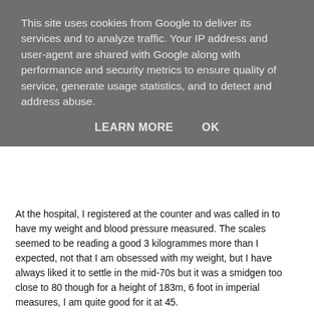This site uses cookies from Google to deliver its services and to analyze traffic. Your IP address and user-agent are shared with Google along with performance and security metrics to ensure quality of service, generate usage statistics, and to detect and address abuse.
LEARN MORE    OK
At the hospital, I registered at the counter and was called in to have my weight and blood pressure measured. The scales seemed to be reading a good 3 kilogrammes more than I expected, not that I am obsessed with my weight, but I have always liked it to settle in the mid-70s but it was a smidgen too close to 80 though for a height of 183m, 6 foot in imperial measures, I am quite good for it at 45.
My doctor would be happier that I was heavier, there is something about the body having a bit more on it to fight disease especially when some rather drastic measures like chemotherapy are required, the battle remains the between the vanity of trimness and the medicine of bulkiness.
Blood pressure, looked fine, sitting between the ideal and the just pre-high blood pressure, maybe there is a bit on my mind, the Lord is my strength.